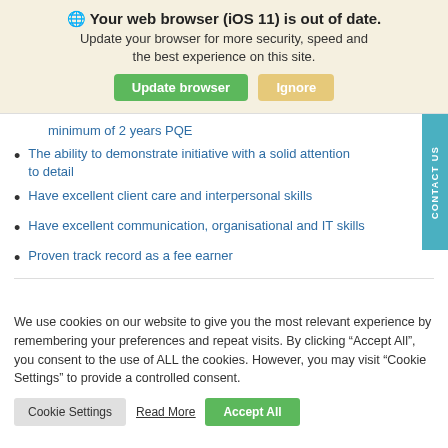[Figure (screenshot): Browser update notification banner with globe icon, bold title 'Your web browser (iOS 11) is out of date.', subtitle text, and two buttons: 'Update browser' (green) and 'Ignore' (tan/gold)]
minimum of 2 years PQE
The ability to demonstrate initiative with a solid attention to detail
Have excellent client care and interpersonal skills
Have excellent communication, organisational and IT skills
Proven track record as a fee earner
We use cookies on our website to give you the most relevant experience by remembering your preferences and repeat visits. By clicking “Accept All”, you consent to the use of ALL the cookies. However, you may visit “Cookie Settings” to provide a controlled consent.